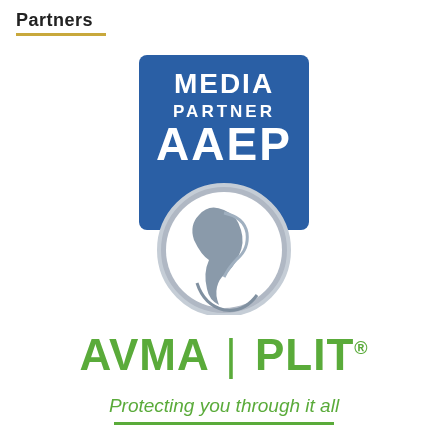Partners
[Figure (logo): AAEP Media Partner logo — blue shield/badge shape with 'MEDIA PARTNER' text at top and 'AAEP' in large white letters, with a circular silver horse head graphic below]
[Figure (logo): AVMA | PLIT logo in green bold text with registered trademark symbol]
Protecting you through it all